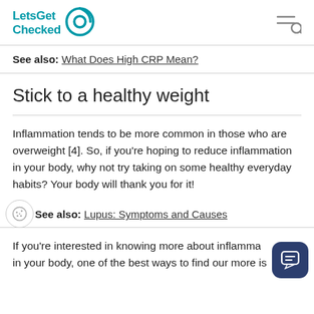LetsGet Checked
See also: What Does High CRP Mean?
Stick to a healthy weight
Inflammation tends to be more common in those who are overweight [4]. So, if you’re hoping to reduce inflammation in your body, why not try taking on some healthy everyday habits? Your body will thank you for it!
See also: Lupus: Symptoms and Causes
If you’re interested in knowing more about inflamma… in your body, one of the best ways to find our more is…